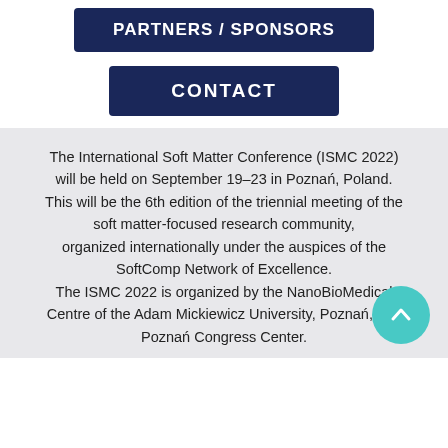PARTNERS / SPONSORS
CONTACT
The International Soft Matter Conference (ISMC 2022) will be held on September 19-23 in Poznań, Poland. This will be the 6th edition of the triennial meeting of the soft matter-focused research community, organized internationally under the auspices of the SoftComp Network of Excellence. The ISMC 2022 is organized by the NanoBioMedical Centre of the Adam Mickiewicz University, Poznań, and Poznań Congress Center.